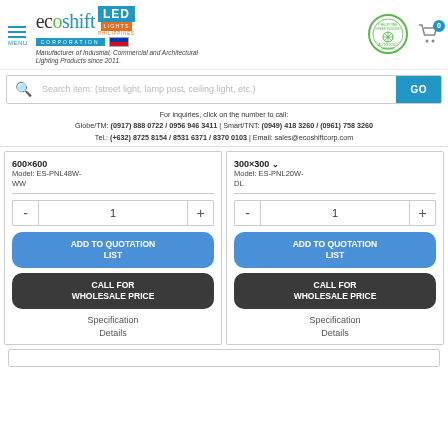Ecoshift Corporation LED Lights Philippines - Manufacturer of Industrial, Commercial and Architectural Lighting Products since 2011.
Search item: (street light, lamp post, ceiling light, etc.)
For inquiries, click on the number to call: Globe/TM: (0917) 888 0722 / 0956 946 3411 | Smart/TNT: (0949) 418 3260 / (0961) 758 3260 | Tel.: (+632) 8725 8154 / 8531 6371 / 8370 0103 | Email: sales@ecoshiftcorp.com
600×600
Model: ES-PNL48W-WW
300×300
Model: ES-PNL20W-DL
ADD TO QUOTATION LIST
CALL FOR WHOLESALE PRICE
Specification Details
ADD TO QUOTATION LIST
CALL FOR WHOLESALE PRICE
Specification Details